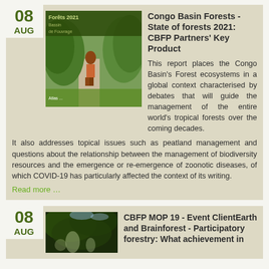08 AUG
[Figure (photo): Cover image of Congo Basin Forests State of Forests 2021 report - showing a person walking on a forest path with lush green vegetation, and a book cover overlay reading 'Forets 2021']
Congo Basin Forests - State of forests 2021: CBFP Partners' Key Product
This report places the Congo Basin's Forest ecosystems in a global context characterised by debates that will guide the management of the entire world's tropical forests over the coming decades. It also addresses topical issues such as peatland management and questions about the relationship between the management of biodiversity resources and the emergence or re-emergence of zoonotic diseases, of which COVID-19 has particularly affected the context of its writing.
Read more …
08 AUG
[Figure (photo): Forest canopy photo showing trees from below with light filtering through]
CBFP MOP 19 - Event ClientEarth and Brainforest - Participatory forestry: What achievement in